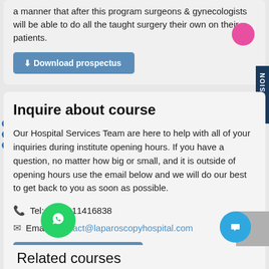a manner that after this program surgeons & gynecologists will be able to do all the taught surgery their own on their patients.
Download prospectus
Inquire about course
Our Hospital Services Team are here to help with all of your inquiries during institute opening hours. If you have a question, no matter how big or small, and it is outside of opening hours use the email below and we will do our best to get back to you as soon as possible.
Tel: +919811416838
Email: contact@laparoscopyhospital.com
Register for Training
Related courses